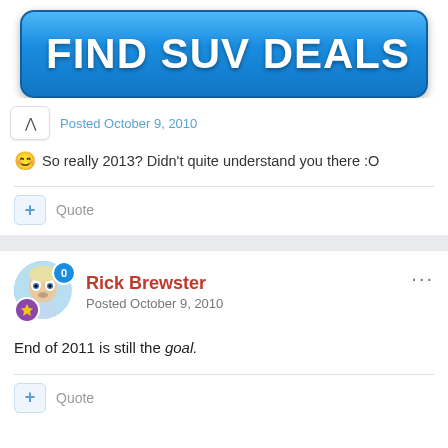[Figure (other): Blue gradient button with text FIND SUV DEALS in white bold font]
Posted October 9, 2010
😊 So really 2013? Didn't quite understand you there :O
+ Quote
Rick Brewster
Posted October 9, 2010
End of 2011 is still the goal.
+ Quote